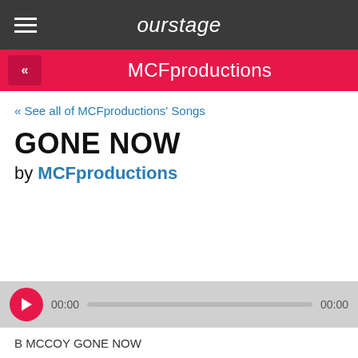ourstage
MCFproductions
« See all of MCFproductions' Songs
GONE NOW
by MCFproductions
00:00   00:00
B MCCOY GONE NOW